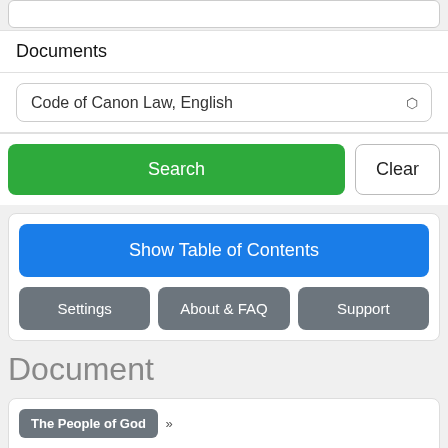Documents
Code of Canon Law, English
Search
Clear
Show Table of Contents
Settings
About & FAQ
Support
Document
The People of God »